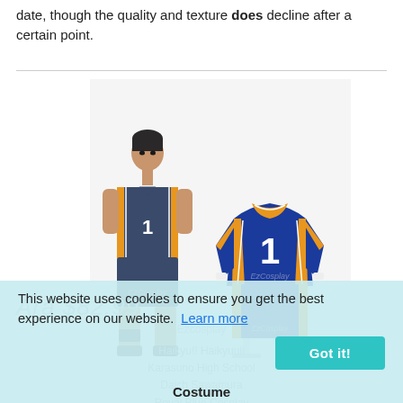date, though the quality and texture does decline after a certain point.
[Figure (photo): Product photo showing an anime character (Haikyuu) in dark blue volleyball uniform next to a mannequin displaying the royal blue cosplay costume with orange accents and number 1 on the jersey. EzCosplay watermark visible.]
This website uses cookies to ensure you get the best experience on our website. Learn more
Got it!
Haikyu!! Haikyuull Karasuno High School Daich Sawamura Royal Blue Cosplay
Costume